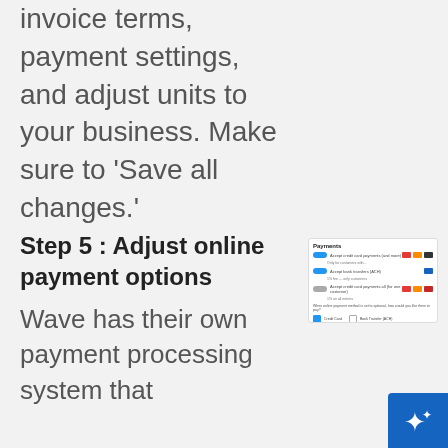invoice terms, payment settings, and adjust units to your business. Make sure to 'Save all changes.'
Step 5 : Adjust online payment options
[Figure (screenshot): Screenshot of a Payments settings panel showing toggles for payment options including credit card and bank transfer, with card brand icons (Visa, Mastercard, Amex).]
Wave has their own payment processing system that